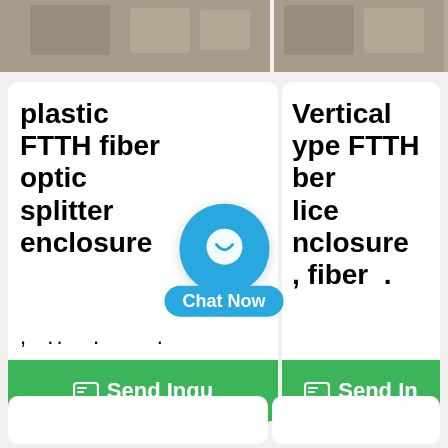[Figure (photo): Top strip showing two product photos side by side, partially cropped at top of page]
plastic FTTH fiber optic splitter enclosure
Vertical type FTTH fiber splice enclosure , fiber .
[Figure (other): Chat Now button overlay with blue circular chat icon and smile face, blue pill-shaped label reading 'Chat Now']
Send Inqu
Send In